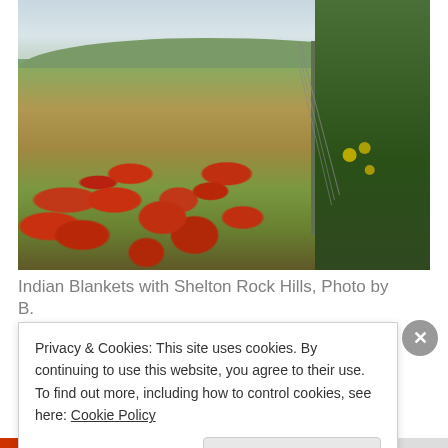[Figure (photo): Photograph of Indian Blanket wildflowers (red and orange blooms) in a green field with rolling hills and a fence post in the background, trees on the right side, and an overcast sky.]
Indian Blankets with Shelton Rock Hills, Photo by B.
Privacy & Cookies: This site uses cookies. By continuing to use this website, you agree to their use. To find out more, including how to control cookies, see here: Cookie Policy
Close and accept